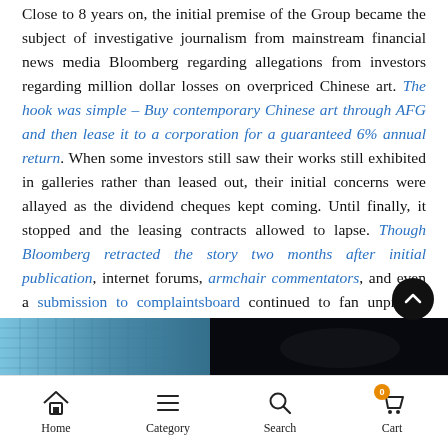Close to 8 years on, the initial premise of the Group became the subject of investigative journalism from mainstream financial news media Bloomberg regarding allegations from investors regarding million dollar losses on overpriced Chinese art. The hook was simple – Buy contemporary Chinese art through AFG and then lease it to a corporation for a guaranteed 6% annual return. When some investors still saw their works still exhibited in galleries rather than leased out, their initial concerns were allayed as the dividend cheques kept coming. Until finally, it stopped and the leasing contracts allowed to lapse. Though Bloomberg retracted the story two months after initial publication, internet forums, armchair commentators, and even a submission to complaintsboard continued to fan unproven accusations of financial misconduct.
[Figure (photo): Partial view of a city building exterior (blue-tinted) on the left and a dark scene on the right, appearing to be a banner image partially visible at the bottom of the page.]
Home  Category  Search  Cart